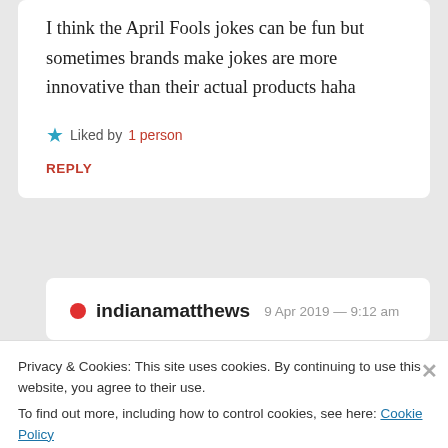I think the April Fools jokes can be fun but sometimes brands make jokes are more innovative than their actual products haha
Liked by 1 person
REPLY
indianamatthews  9 Apr 2019 — 9:12 am
Privacy & Cookies: This site uses cookies. By continuing to use this website, you agree to their use.
To find out more, including how to control cookies, see here: Cookie Policy
Close and accept